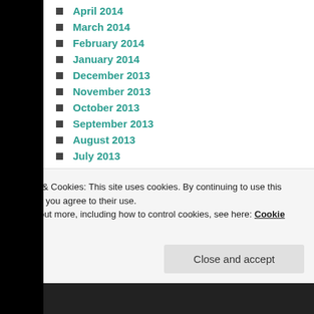April 2014
March 2014
February 2014
January 2014
December 2013
November 2013
October 2013
September 2013
August 2013
July 2013
June 2013
May 2013
April 2013
March 2013
Privacy & Cookies: This site uses cookies. By continuing to use this website, you agree to their use.
To find out more, including how to control cookies, see here: Cookie Policy